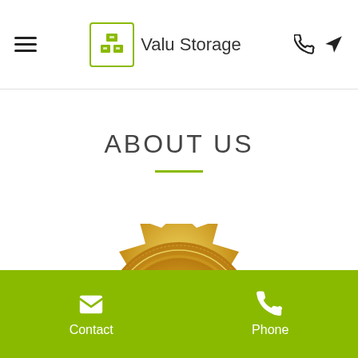Valu Storage
ABOUT US
[Figure (illustration): Gold 5 STAR badge/medallion, partially cropped showing the top and middle portion with '5 STAR' text and laurel wreath decoration]
Contact  Phone